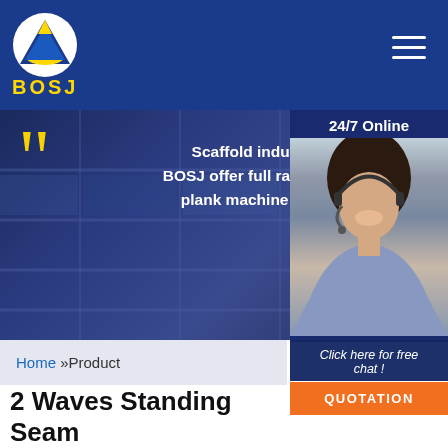[Figure (logo): BOSJ company logo: triangle shape with boat/anchor icon, yellow and blue, with BOSJ text below in yellow]
[Figure (photo): Banner image of warehouse/factory shelving in blue tint with large yellow quote marks and overlaid text: 'Scaffold industry 4.0, BOSJ offer full range of scaffold plank machine services.']
[Figure (photo): 24/7 Online customer support panel with photo of a smiling woman with headset, dark blue background with '24/7 Online' text]
Click here for free chat !
QUOTATION
Home »Product
2 Waves Standing Seam Highway Guardrail Roll Forming Making Machine Expressway Protection